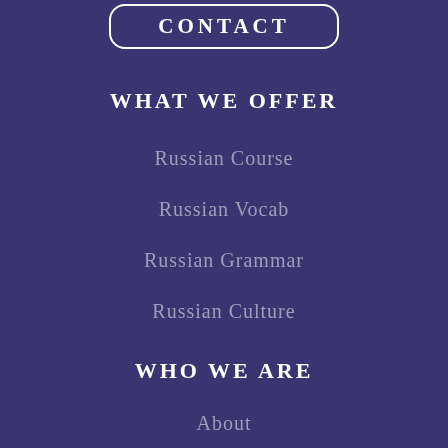[Figure (other): CONTACT button with rounded rectangle border at top of page]
WHAT WE OFFER
Russian Course
Russian Vocab
Russian Grammar
Russian Culture
WHO WE ARE
About
Contact
Blog